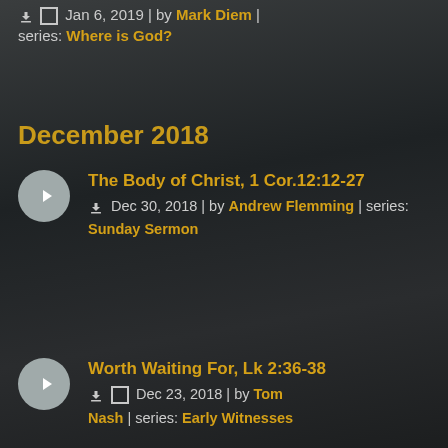Jan 6, 2019 | by Mark Diem | series: Where is God?
December 2018
The Body of Christ, 1 Cor.12:12-27
Dec 30, 2018 | by Andrew Flemming | series: Sunday Sermon
Worth Waiting For, Lk 2:36-38
Dec 23, 2018 | by Tom Nash | series: Early Witnesses